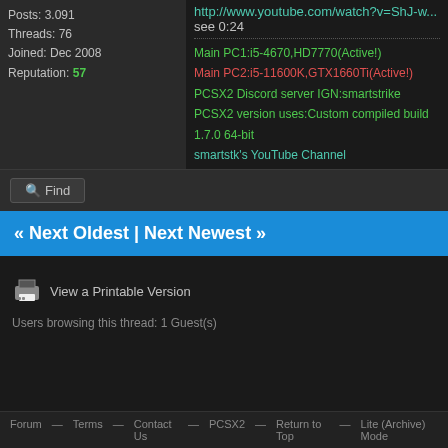Posts: 3.091
Threads: 76
Joined: Dec 2008
Reputation: 57
http://www.youtube.com/watch?v=ShJ-w...
see 0:24
Main PC1:i5-4670,HD7770(Active!)
Main PC2:i5-11600K,GTX1660Ti(Active!)
PCSX2 Discord server IGN:smartstrike
PCSX2 version uses:Custom compiled build 1.7.0 64-bit
smartsstk's YouTube Channel
Find
« Next Oldest | Next Newest »
View a Printable Version
Users browsing this thread: 1 Guest(s)
Forum — Terms — Contact Us — PCSX2 — Return to Top — Lite (Archive) Mode — Mark All Forums Read — RSS Syndication